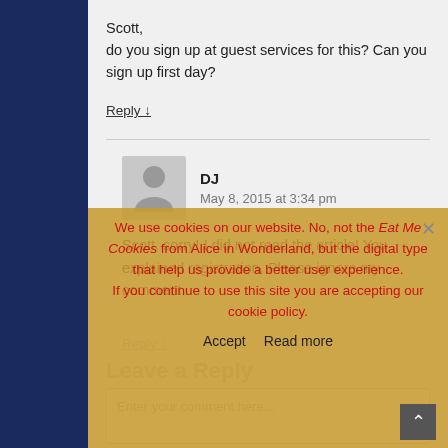Scott,
do you sign up at guest services for this? Can you sign up first day?
Reply ↓
DJ
May 8, 2015 at 3:34 pm
Scott, sorry! I did not read the article! You explained registration. Please ignore my comment.
Reply ↓
Leave a Reply
We use cookies on our website. No, not the Eat Me Cookies from Alice in Wonderland, but the digital type that help us provide a better user experience.
If you continue to use this site you are accepting our cookie policy.
Accept   Read more
Enter your comment here...